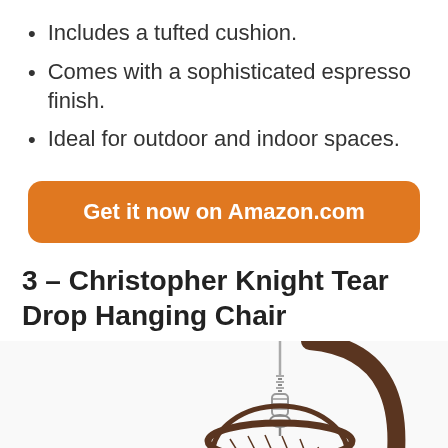Includes a tufted cushion.
Comes with a sophisticated espresso finish.
Ideal for outdoor and indoor spaces.
[Figure (other): Orange rounded rectangle button with white text reading 'Get it now on Amazon.com']
3 – Christopher Knight Tear Drop Hanging Chair
[Figure (photo): Partial photo of a Christopher Knight Tear Drop Hanging Chair showing the arc stand and the top portion of the hanging wicker/rattan egg-shaped chair with chain]